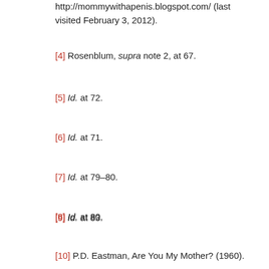http://mommywithapenis.blogspot.com/ (last visited February 3, 2012).
[4] Rosenblum, supra note 2, at 67.
[5] Id. at 72.
[6] Id. at 71.
[7] Id. at 79–80.
[8] Id. at 80.
[9] Id. at 83.
[10] P.D. Eastman, Are You My Mother? (1960).